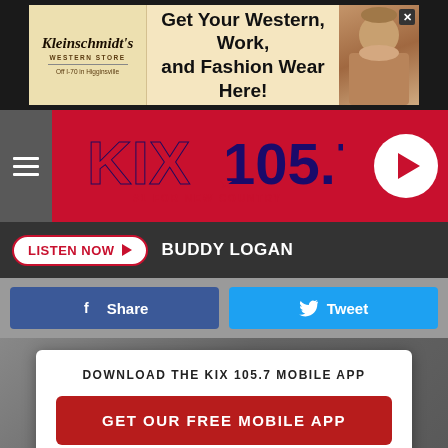[Figure (screenshot): Kleinschmidt's Western Store advertisement banner: Get Your Western, Work, and Fashion Wear Here!]
[Figure (logo): KIX 105.7 #1 For New Country radio station logo with red background and play button]
LISTEN NOW  BUDDY LOGAN
[Figure (screenshot): Facebook Share button (blue) and Twitter Tweet button (cyan)]
DOWNLOAD THE KIX 105.7 MOBILE APP
GET OUR FREE MOBILE APP
Also listen on:  amazon alexa
[Figure (screenshot): BTC Bank advertisement: Access Your Account Anywhere. Anytime. Learn More.]